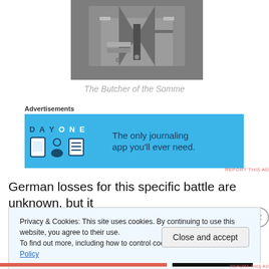[Figure (photo): Black and white close-up photo of a military officer's uniform jacket with medals and insignia]
The Butcher of the Somme
Advertisements
[Figure (other): DAY ONE app advertisement banner with blue background: 'The only journaling app you'll ever need.']
German losses for this specific battle are unknown, but it
Privacy & Cookies: This site uses cookies. By continuing to use this website, you agree to their use.
To find out more, including how to control cookies, see here: Cookie Policy
Close and accept